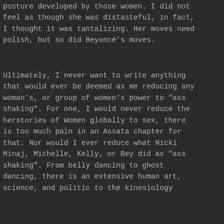posture developed by those women. I did not feel as though she was distasteful, in fact, I thought it was tantalizing. Her moves need polish, but so did Beyoncé's moves.
Ultimately, I never want to write anything that would ever be deemed as me reducing any woman's, or group of women's power to "ass shaking". For one, I would never reduce the herstories of Women globally to sex, there is too much pain in an Assata chapter for that. Nor would I ever reduce what Nicki Minaj, Michelle, Kelly, or Bey did as "ass shaking". From belly dancing to ghost dancing, there is an extensive human art, science, and politic to the kinesiology